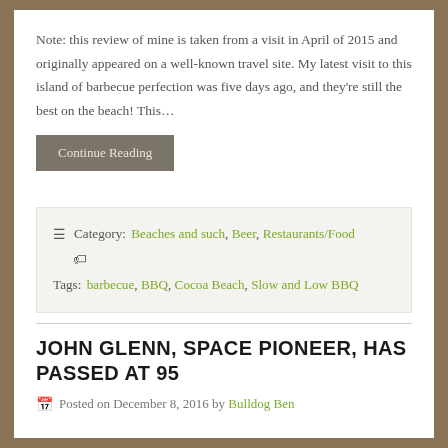Note: this review of mine is taken from a visit in April of 2015 and originally appeared on a well-known travel site. My latest visit to this island of barbecue perfection was five days ago, and they're still the best on the beach!  This…
Continue Reading
Category: Beaches and such, Beer, Restaurants/Food
Tags: barbecue, BBQ, Cocoa Beach, Slow and Low BBQ
JOHN GLENN, SPACE PIONEER, HAS PASSED AT 95
Posted on December 8, 2016 by Bulldog Ben